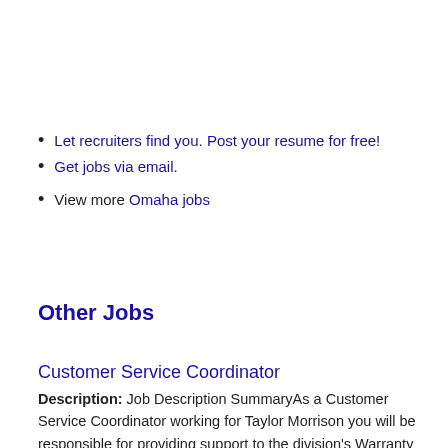Let recruiters find you. Post your resume for free!
Get jobs via email.
View more Omaha jobs
Other Jobs
Customer Service Coordinator
Description: Job Description SummaryAs a Customer Service Coordinator working for Taylor Morrison you will be responsible for providing support to the division's Warranty team. You will generate